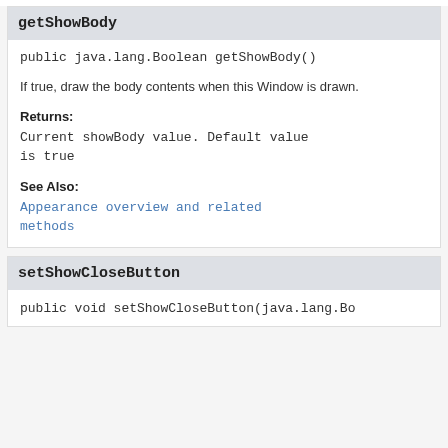getShowBody
public java.lang.Boolean getShowBody()
If true, draw the body contents when this Window is drawn.
Returns:
Current showBody value. Default value is true
See Also:
Appearance overview and related methods
setShowCloseButton
public void setShowCloseButton(java.lang.Bo